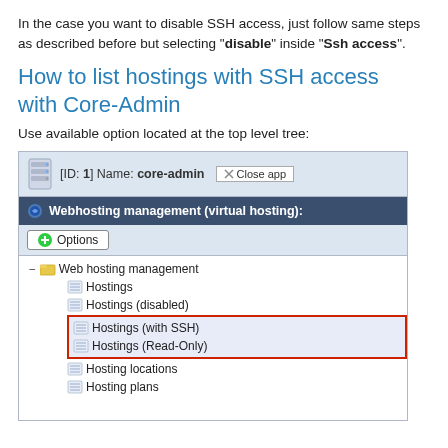In the case you want to disable SSH access, just follow same steps as described before but selecting “disable” inside “Ssh access”.
How to list hostings with SSH access with Core-Admin
Use available option located at the top level tree:
[Figure (screenshot): Screenshot of Core-Admin web interface showing Webhosting management tree with 'Hostings (with SSH)' highlighted in a red box]